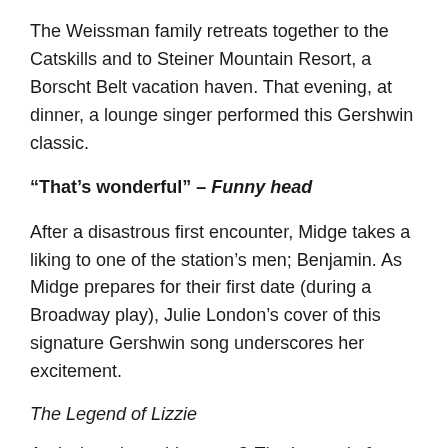The Weissman family retreats together to the Catskills and to Steiner Mountain Resort, a Borscht Belt vacation haven. That evening, at dinner, a lounge singer performed this Gershwin classic.
“That’s wonderful” – Funny head
After a disastrous first encounter, Midge takes a liking to one of the station’s men; Benjamin. As Midge prepares for their first date (during a Broadway play), Julie London’s cover of this signature Gershwin song underscores her excitement.
The Legend of Lizzie
And what about this game? The Legend of Lizzie, a play based on the life and infamy of Lizzie Borden, actually played on Broadway for two performances in 1959, the year season two is set. A single wrinkle; he played February 9 and 10, 1959, and Midge and Benjamin saw him that summer. Listen carefully to the sound of